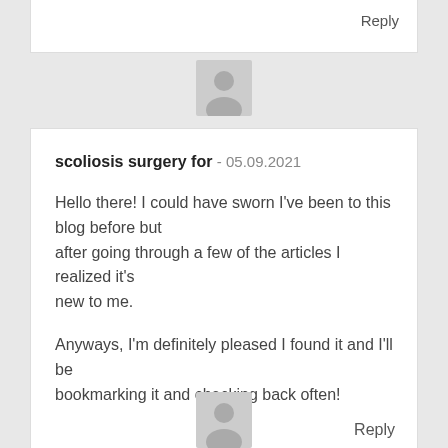Reply
[Figure (illustration): Generic user avatar icon (silhouette of a person on grey background)]
scoliosis surgery for - 05.09.2021
Hello there! I could have sworn I've been to this blog before but after going through a few of the articles I realized it's new to me.
Anyways, I'm definitely pleased I found it and I'll be bookmarking it and checking back often!
Reply
[Figure (illustration): Generic user avatar icon (silhouette of a person on grey background)]